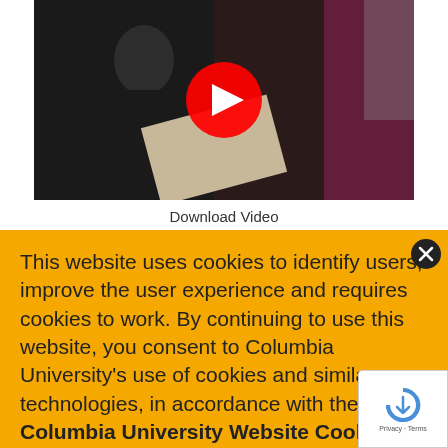[Figure (screenshot): YouTube video thumbnail showing a person holding a document, with a YouTube play button overlay in center]
Download Video
In this module, Cate demonstrates one of her tried and
This website uses cookies to identify users, improve the user experience and requires cookies to work. By continuing to use this website, you consent to Columbia University's use of cookies and similar technologies, in accordance with the Columbia University Website Cookie Notice.